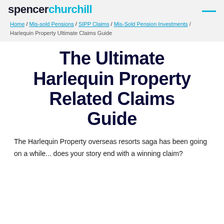spencer churchill
Home / Mis-sold Pensions / SIPP Claims / Mis-Sold Pension Investments / Harlequin Property Ultimate Claims Guide
The Ultimate Harlequin Property Related Claims Guide
The Harlequin Property overseas resorts saga has been going on a while... does your story end with a winning claim?